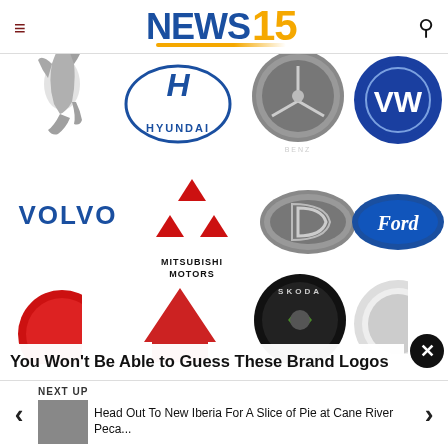NEWS 15
[Figure (illustration): Collage of car brand logos: Ferrari, Hyundai, Mercedes-Benz, Volkswagen, Volvo, Mitsubishi Motors, Daihatsu, Ford, partial logos of Audi/Alfa Romeo, Spartak, Skoda, and another circular logo]
You Won't Be Able to Guess These Brand Logos
NEXT UP
Head Out To New Iberia For A Slice of Pie at Cane River Peca...